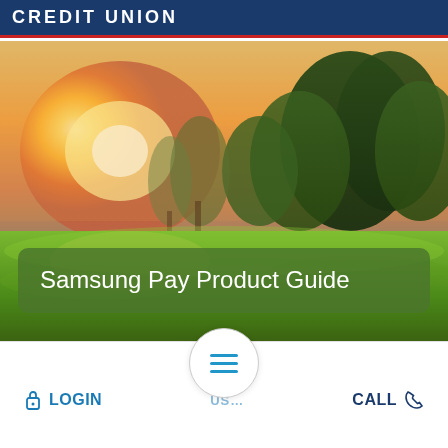CREDIT UNION
[Figure (photo): Scenic outdoor photo with bright golden sunrise or sunset behind trees, green grass field in foreground]
Samsung Pay Product Guide
[Figure (other): Hamburger menu icon inside a circle, navigation element]
LOGIN
CALL